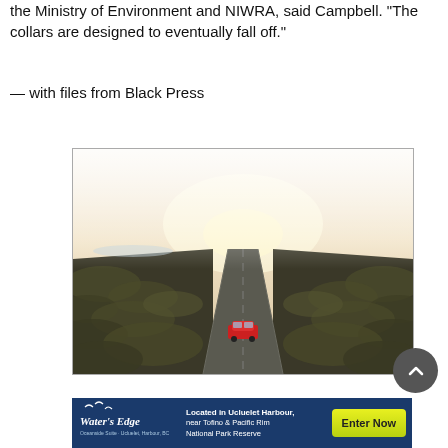the Ministry of Environment and NIWRA, said Campbell. “The collars are designed to eventually fall off.”
— with files from Black Press
[Figure (photo): Aerial drone view of a straight rural road stretching into a misty horizon through scrubby terrain, with a red car on the road in the foreground]
[Figure (infographic): Advertisement banner for Water's Edge located in Ucluelet Harbour, near Tofino & Pacific Rim National Park Reserve, with an Enter Now button]